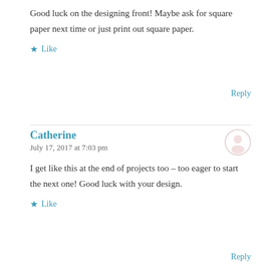Good luck on the designing front! Maybe ask for square paper next time or just print out square paper.
★ Like
Reply
Catherine
July 17, 2017 at 7:03 pm
I get like this at the end of projects too – too eager to start the next one! Good luck with your design.
★ Like
Reply